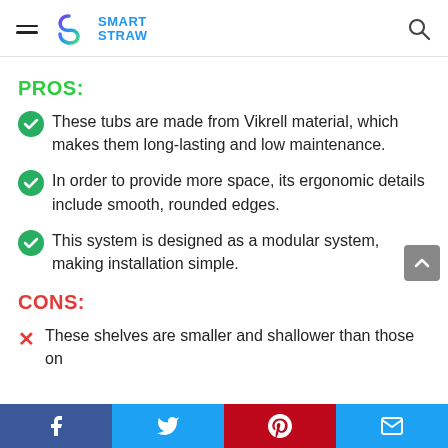Smart Straw
PROS:
These tubs are made from Vikrell material, which makes them long-lasting and low maintenance.
In order to provide more space, its ergonomic details include smooth, rounded edges.
This system is designed as a modular system, making installation simple.
CONS:
These shelves are smaller and shallower than those on
Facebook | Twitter | Pinterest | Email